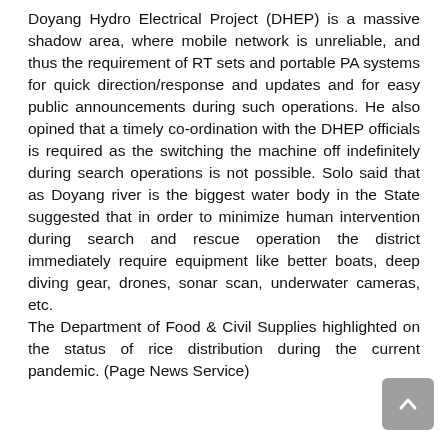Doyang Hydro Electrical Project (DHEP) is a massive shadow area, where mobile network is unreliable, and thus the requirement of RT sets and portable PA systems for quick direction/response and updates and for easy public announcements during such operations. He also opined that a timely co-ordination with the DHEP officials is required as the switching the machine off indefinitely during search operations is not possible. Solo said that as Doyang river is the biggest water body in the State suggested that in order to minimize human intervention during search and rescue operation the district immediately require equipment like better boats, deep diving gear, drones, sonar scan, underwater cameras, etc. The Department of Food & Civil Supplies highlighted on the status of rice distribution during the current pandemic. (Page News Service)